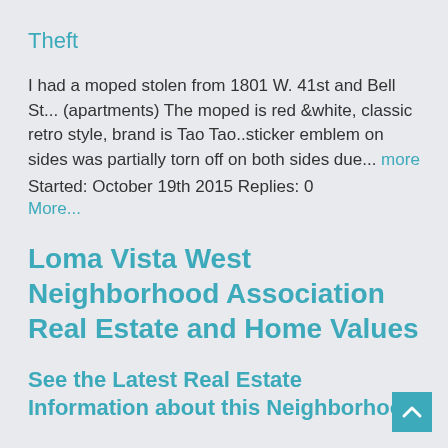Theft
I had a moped stolen from 1801 W. 41st and Bell St... (apartments) The moped is red &white, classic retro style, brand is Tao Tao..sticker emblem on sides was partially torn off on both sides due... more
Started: October 19th 2015 Replies: 0
More...
Loma Vista West Neighborhood Association Real Estate and Home Values
See the Latest Real Estate Information about this Neighborhood